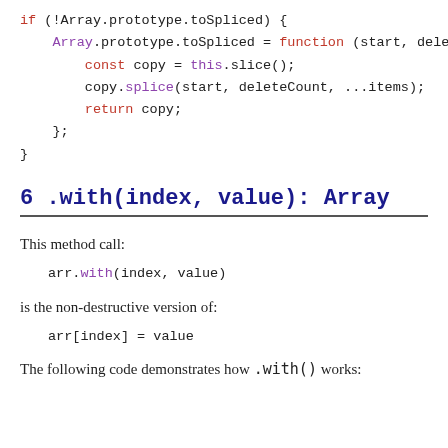if (!Array.prototype.toSpliced) {
    Array.prototype.toSpliced = function (start, dele
        const copy = this.slice();
        copy.splice(start, deleteCount, ...items);
        return copy;
    };
}
6 .with(index, value): Array
This method call:
arr.with(index, value)
is the non-destructive version of:
arr[index] = value
The following code demonstrates how .with() works: